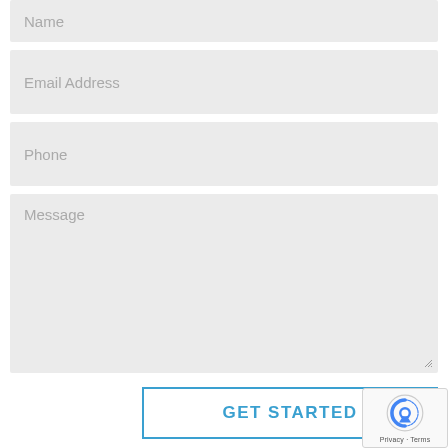Name
Email Address
Phone
Message
GET STARTED
[Figure (logo): reCAPTCHA badge with robot icon and Privacy - Terms text]